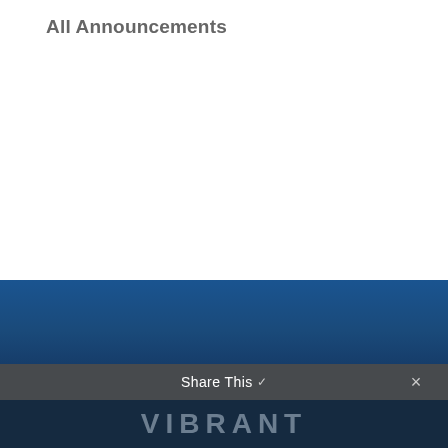All Announcements
[Figure (other): Orange scroll-to-top button at right edge with upward chevron arrow]
VIBRANT PRESBYTERY
Share This